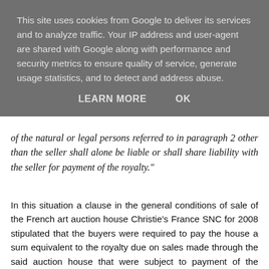This site uses cookies from Google to deliver its services and to analyze traffic. Your IP address and user-agent are shared with Google along with performance and security metrics to ensure quality of service, generate usage statistics, and to detect and address abuse.
LEARN MORE   OK
of the natural or legal persons referred to in paragraph 2 other than the seller shall alone be liable or shall share liability with the seller for payment of the royalty."
In this situation a clause in the general conditions of sale of the French art auction house Christie's France SNC for 2008 stipulated that the buyers were required to pay the house a sum equivalent to the royalty due on sales made through the said auction house that were subject to payment of the royalty  Christie's France SNC took the money on behalf of the seller and subsequently paid it to the collective management organization in charge of collecting the royalty. A competing association, the SNA, claimed that sales made by Christie's France under the aforesaid contested clause